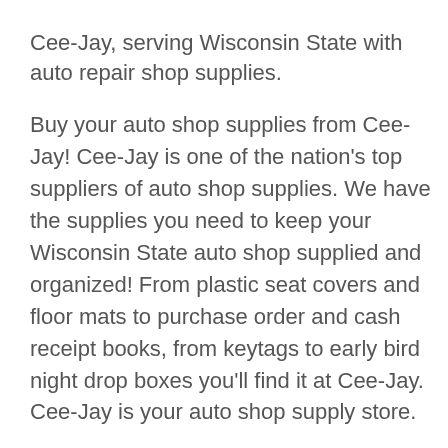Cee-Jay, serving Wisconsin State with auto repair shop supplies.
Buy your auto shop supplies from Cee-Jay! Cee-Jay is one of the nation's top suppliers of auto shop supplies. We have the supplies you need to keep your Wisconsin State auto shop supplied and organized! From plastic seat covers and floor mats to purchase order and cash receipt books, from keytags to early bird night drop boxes you'll find it at Cee-Jay. Cee-Jay is your auto shop supply store.
Supplies from Cee-Jay help to keep your repair shop in Wisconsin State supplied and organized!